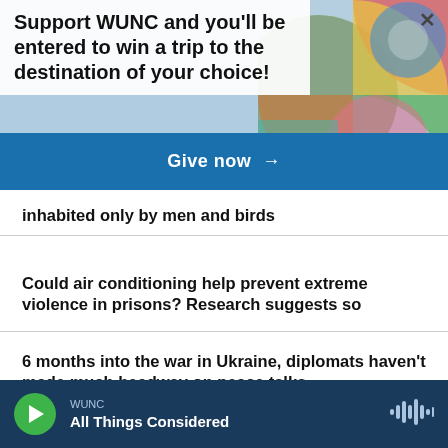Support WUNC and you'll be entered to win a trip to the destination of your choice!
Give now →
inhabited only by men and birds
Could air conditioning help prevent extreme violence in prisons? Research suggests so
6 months into the war in Ukraine, diplomats haven't made much headway on peace talks
WUNC — All Things Considered